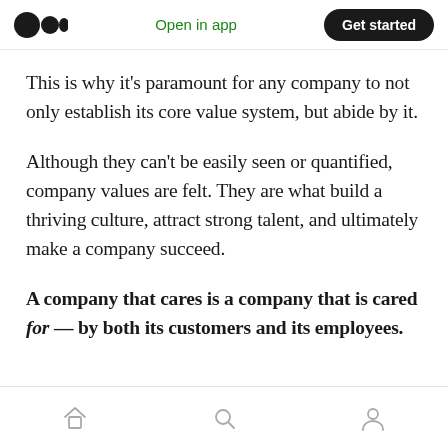Open in app | Get started
This is why it’s paramount for any company to not only establish its core value system, but abide by it.
Although they can’t be easily seen or quantified, company values are felt. They are what build a thriving culture, attract strong talent, and ultimately make a company succeed.
A company that cares is a company that is cared for— by both its customers and its employees.
Home | Search | Profile